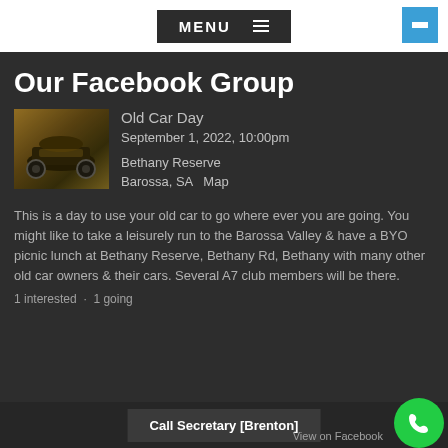MENU ≡
Our Facebook Group
[Figure (photo): Old vintage/antique car, dark toned photo]
Old Car Day
September 1, 2022, 10:00pm
Bethany Reserve
Barossa, SA  Map
This is a day to use your old car to go where ever you are going. You might like to take a leisurely run to the Barossa Valley & have a BYO picnic lunch at Bethany Reserve, Bethany Rd, Bethany with many other old car owners & their cars. Several A7 club members will be there.
1 interested · 1 going
Call Secretary [Brenton]
View on Facebook